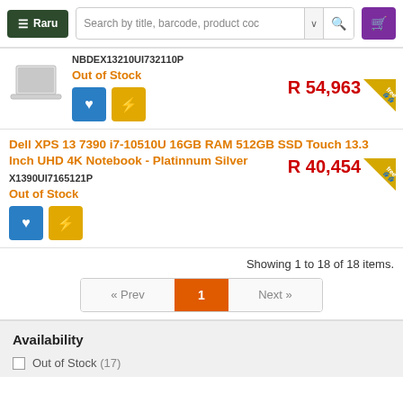Raru | Search by title, barcode, product code
NBDEX13210UI732110P
Out of Stock
R 54,963
Dell XPS 13 7390 i7-10510U 16GB RAM 512GB SSD Touch 13.3 Inch UHD 4K Notebook - Platinnum Silver
X1390UI7165121P
Out of Stock
R 40,454
Showing 1 to 18 of 18 items.
Availability
Out of Stock (17)